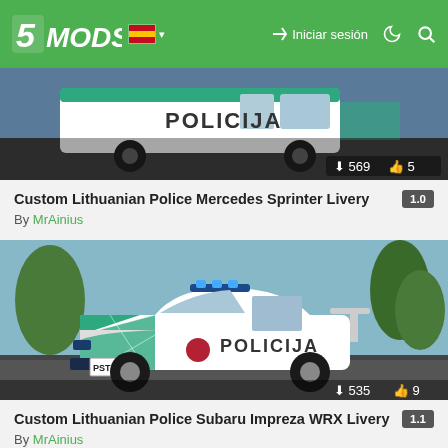5MODS | Iniciar sesión
[Figure (screenshot): Screenshot of a Lithuanian Police Mercedes Sprinter van with POLICIJA livery in a video game. Download count: 569, Likes: 5.]
Custom Lithuanian Police Mercedes Sprinter Livery
By MrAinius
[Figure (screenshot): Screenshot of a Lithuanian Police Subaru Impreza WRX with POLICIJA livery in a video game. Download count: 535, Likes: 9.]
Custom Lithuanian Police Subaru Impreza WRX Livery
By MrAinius